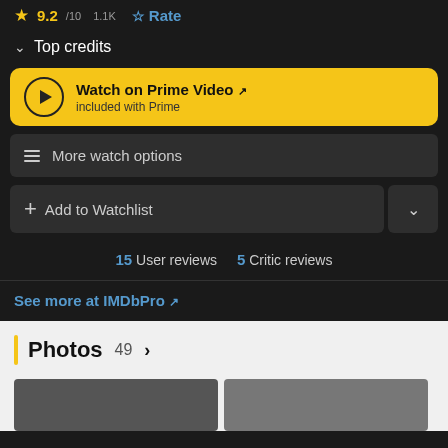9.2 / 10  1.1K  Rate
Top credits
Watch on Prime Video – included with Prime
More watch options
+ Add to Watchlist
15 User reviews  5 Critic reviews
See more at IMDbPro
Photos 49 >
[Figure (photo): Two photo thumbnails partially visible at the bottom of the page]